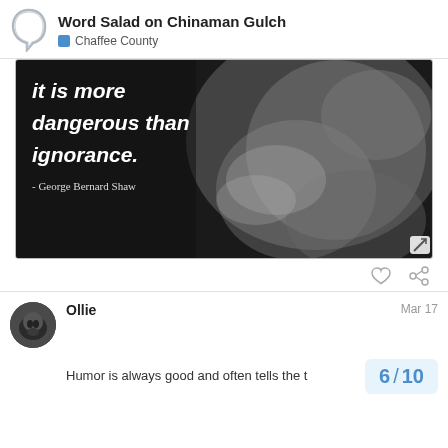Word Salad on Chinaman Gulch — Chaffee County
[Figure (photo): Black and white photo of elderly bearded man in contemplative pose with overlaid quote text: 'it is more dangerous than ignorance.' attributed to George Bernard Shaw]
Ollie   Mar 17
6 / 10
Humor is always good and often tells the t